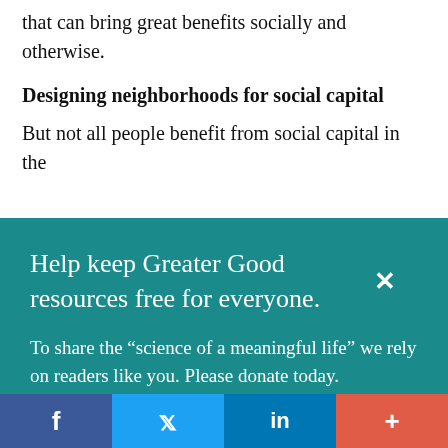that can bring great benefits socially and otherwise.
Designing neighborhoods for social capital
But not all people benefit from social capital in the
Help keep Greater Good resources free for everyone.
To share the “science of a meaningful life” we rely on readers like you. Please donate today.
Give Now
f  t  in  +